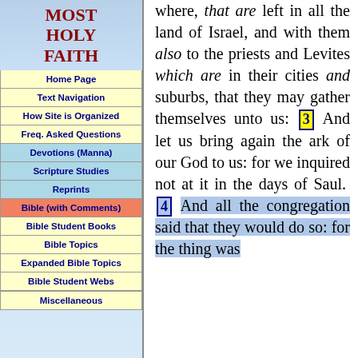MOST HOLY FAITH
Home Page
Text Navigation
How Site is Organized
Freq. Asked Questions
Devotions (Manna)
Scripture Studies
Reprints
Bible (with Comments)
Bible Student Books
Bible Topics
Expanded Bible Topics
Bible Student Webs
Miscellaneous
where, that are left in all the land of Israel, and with them also to the priests and Levites which are in their cities and suburbs, that they may gather themselves unto us: 3 And let us bring again the ark of our God to us: for we inquired not at it in the days of Saul. 4 And all the congregation said that they would do so: for the thing was